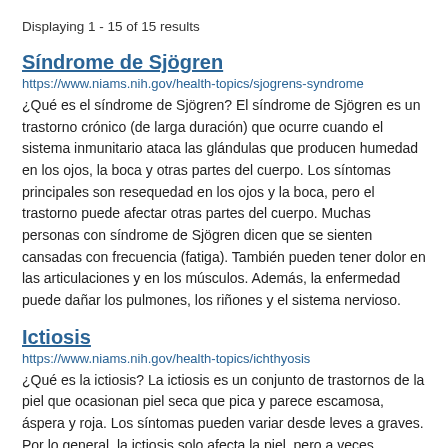Displaying 1 - 15 of 15 results
Síndrome de Sjögren
https://www.niams.nih.gov/health-topics/sjogrens-syndrome
¿Qué es el síndrome de Sjögren? El síndrome de Sjögren es un trastorno crónico (de larga duración) que ocurre cuando el sistema inmunitario ataca las glándulas que producen humedad en los ojos, la boca y otras partes del cuerpo. Los síntomas principales son resequedad en los ojos y la boca, pero el trastorno puede afectar otras partes del cuerpo. Muchas personas con síndrome de Sjögren dicen que se sienten cansadas con frecuencia (fatiga). También pueden tener dolor en las articulaciones y en los músculos. Además, la enfermedad puede dañar los pulmones, los riñones y el sistema nervioso.
Ictiosis
https://www.niams.nih.gov/health-topics/ichthyosis
¿Qué es la ictiosis? La ictiosis es un conjunto de trastornos de la piel que ocasionan piel seca que pica y parece escamosa, áspera y roja. Los síntomas pueden variar desde leves a graves. Por lo general, la ictiosis solo afecta la piel, pero a veces también puede afectar los órganos internos.